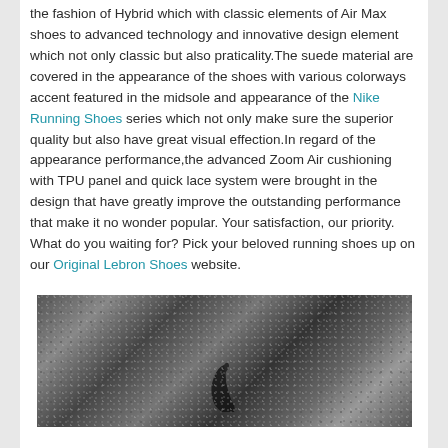the fashion of Hybrid which with classic elements of Air Max shoes to advanced technology and innovative design element which not only classic but also praticality.The suede material are covered in the appearance of the shoes with various colorways accent featured in the midsole and appearance of the Nike Running Shoes series which not only make sure the superior quality but also have great visual effection.In regard of the appearance performance,the advanced Zoom Air cushioning with TPU panel and quick lace system were brought in the design that have greatly improve the outstanding performance that make it no wonder popular. Your satisfaction, our priority. What do you waiting for? Pick your beloved running shoes up on our Original Lebron Shoes website.
[Figure (photo): A dark grainy photograph showing what appears to be a shoe or footwear against a textured background]